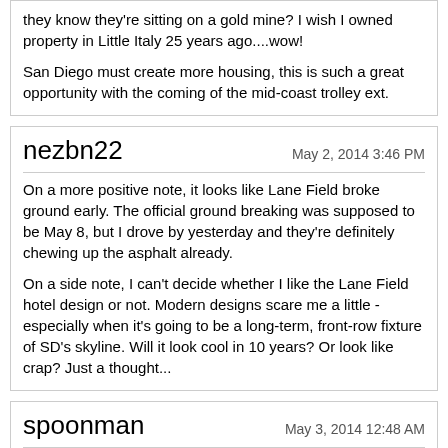they know they're sitting on a gold mine? I wish I owned property in Little Italy 25 years ago....wow!

San Diego must create more housing, this is such a great opportunity with the coming of the mid-coast trolley ext.
nezbn22
May 2, 2014 3:46 PM

On a more positive note, it looks like Lane Field broke ground early. The official ground breaking was supposed to be May 8, but I drove by yesterday and they're definitely chewing up the asphalt already.

On a side note, I can't decide whether I like the Lane Field hotel design or not. Modern designs scare me a little - especially when it's going to be a long-term, front-row fixture of SD's skyline. Will it look cool in 10 years? Or look like crap? Just a thought...
spoonman
May 3, 2014 12:48 AM

Other good news...11th & B will break ground next year.

http://www.utsandiego.com/news/2014/...ents-approval/

http://sandiego.urbdezine.com/files/...t-Pinnacle.jpg